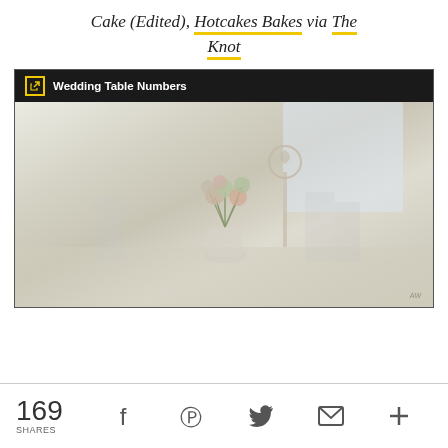Cake (Edited), Hotcakes Bakes via The Knot
[Figure (photo): Wedding table setting with floral centerpiece, glassware, plates and a decorative table number stand. Dark header bar reads 'Wedding Table Numbers' with an external link icon.]
169 SHARES
[Figure (infographic): Social share icons: Facebook, Pinterest, Twitter, Email, Plus]